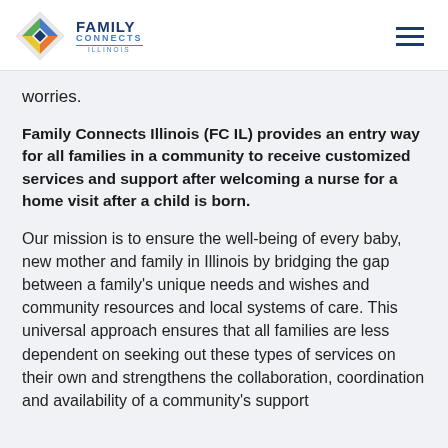[Figure (logo): Family Connects Illinois logo with diamond icon and text]
worries.
Family Connects Illinois (FC IL) provides an entry way for all families in a community to receive customized services and support after welcoming a nurse for a home visit after a child is born.
Our mission is to ensure the well-being of every baby, new mother and family in Illinois by bridging the gap between a family's unique needs and wishes and community resources and local systems of care. This universal approach ensures that all families are less dependent on seeking out these types of services on their own and strengthens the collaboration, coordination and availability of a community's support